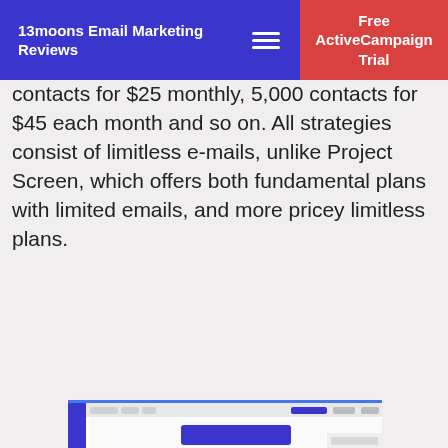13moons Email Marketing Reviews | Free ActiveCampaign Trial
contacts for $25 monthly, 5,000 contacts for $45 each month and so on. All strategies consist of limitless e-mails, unlike Project Screen, which offers both fundamental plans with limited emails, and more pricey limitless plans.
[Figure (screenshot): ActiveCampaign Review card with title 'ActiveCampaign Review', subtitle 'Marketing Automation On Steroids (2020)', and a screenshot of the ActiveCampaign automation workflow interface below.]